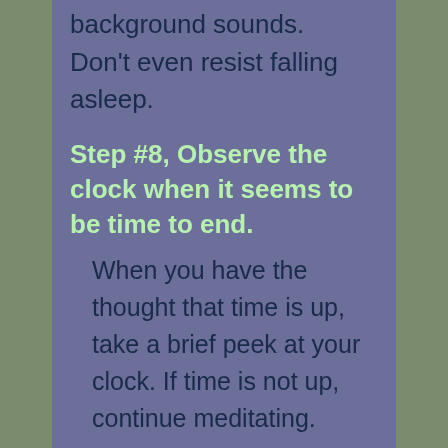background sounds. Don't even resist falling asleep.
Step #8, Observe the clock when it seems to be time to end.
When you have the thought that time is up, take a brief peek at your clock. If time is not up, continue meditating.
Step #9, When it is time